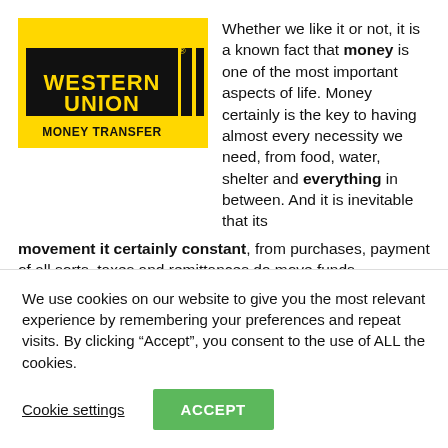[Figure (logo): Western Union Money Transfer logo — yellow background with bold black text 'WESTERN UNION' and two vertical bars, and 'MONEY TRANSFER' below in black]
Whether we like it or not, it is a known fact that money is one of the most important aspects of life. Money certainly is the key to having almost every necessity we need, from food, water, shelter and everything in between. And it is inevitable that its movement it certainly constant, from purchases, payment of all sorts, taxes and remittances do move funds
We use cookies on our website to give you the most relevant experience by remembering your preferences and repeat visits. By clicking “Accept”, you consent to the use of ALL the cookies.
Cookie settings
ACCEPT